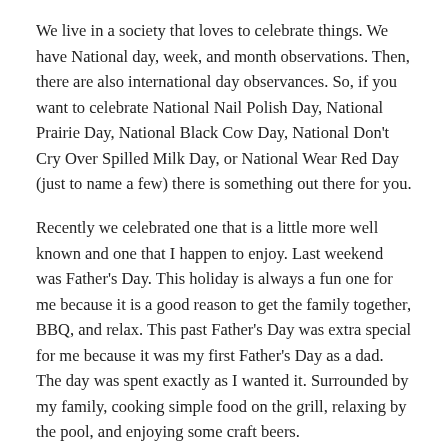We live in a society that loves to celebrate things. We have National day, week, and month observations. Then, there are also international day observances. So, if you want to celebrate National Nail Polish Day, National Prairie Day, National Black Cow Day, National Don't Cry Over Spilled Milk Day, or National Wear Red Day (just to name a few) there is something out there for you.
Recently we celebrated one that is a little more well known and one that I happen to enjoy. Last weekend was Father's Day. This holiday is always a fun one for me because it is a good reason to get the family together, BBQ, and relax. This past Father's Day was extra special for me because it was my first Father's Day as a dad. The day was spent exactly as I wanted it. Surrounded by my family, cooking simple food on the grill, relaxing by the pool, and enjoying some craft beers.